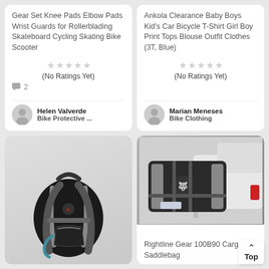Gear Set Knee Pads Elbow Pads Wrist Guards for Rollerblading Skateboard Cycling Skating Bike Scooter
(No Ratings Yet)
2
Helen Valverde
Bike Protective ...
Ankola Clearance Baby Boys Kid's Car Bicycle T-Shirt Girl Boy Print Tops Blouse Outfit Clothes (3T, Blue)
(No Ratings Yet)
Marian Meneses
Bike Clothing
[Figure (photo): Black hydration backpack with grey accents and blue hose]
[Figure (photo): Black cargo bag/saddlebag mounted on a white pickup truck bed]
Rightline Gear 100B90 Cargo Saddlebag